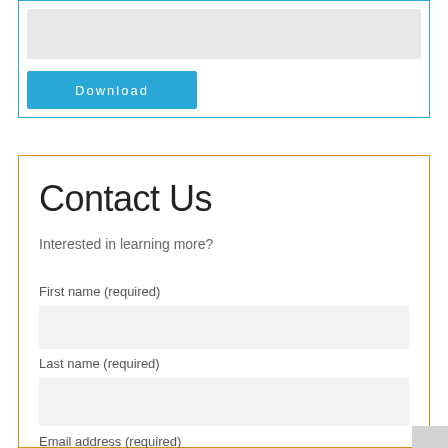[Figure (other): Top section with a gray input/content bar and a blue Download button, inside a blue-bordered box]
Contact Us
Interested in learning more?
First name (required)
Last name (required)
Email address (required)